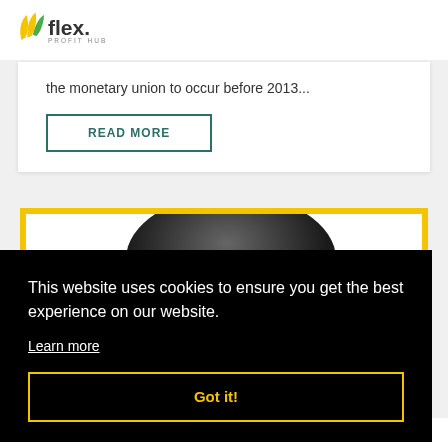flex. PROFIT HUB
the monetary union to occur before 2013...
READ MORE
[Figure (photo): Dark globe/sphere image partially visible behind cookie consent banner, with yellow border card]
This website uses cookies to ensure you get the best experience on our website.
Learn more
Got it!
The Eurozone. As predicted last year, it's still